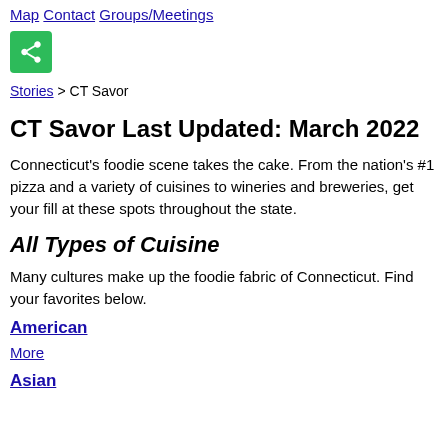Map Contact Groups/Meetings
[Figure (other): Green share button with share icon]
Stories > CT Savor
CT Savor Last Updated: March 2022
Connecticut's foodie scene takes the cake. From the nation's #1 pizza and a variety of cuisines to wineries and breweries, get your fill at these spots throughout the state.
All Types of Cuisine
Many cultures make up the foodie fabric of Connecticut. Find your favorites below.
American
More
Asian